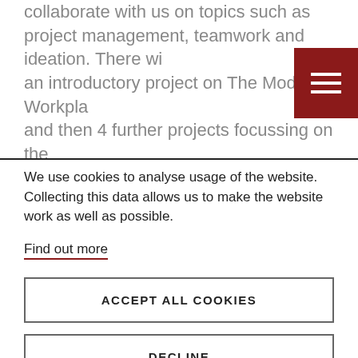collaborate with us on topics such as project management, teamwork and ideation. There will be an introductory project on The Modern Workplace and then 4 further projects focussing on the employment sectors of Education, Engineering and Health.
We use cookies to analyse usage of the website. Collecting this data allows us to make the website work as well as possible.
Find out more
ACCEPT ALL COOKIES
DECLINE
COOKIE SETTINGS